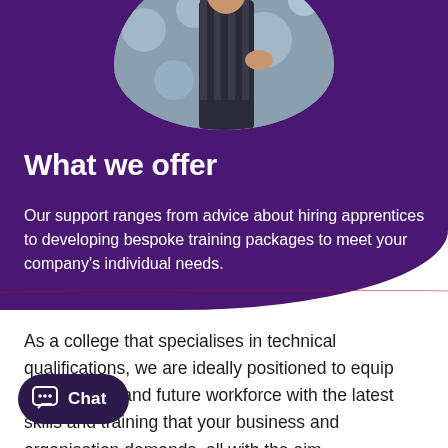[Figure (photo): Circular cropped photo of a person wearing a striped top, with bokeh background lighting]
What we offer
Our support ranges from advice about hiring apprentices to developing bespoke training packages to meet your company's individual needs.
As a college that specialises in technical qualifications, we are ideally positioned to equip your current and future workforce with the latest skills and training that your business and organisation demands, all with the aim of helping you develop your company and the economy as a whole.